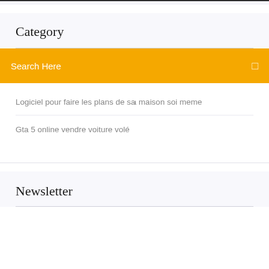Category
Search Here
Logiciel pour faire les plans de sa maison soi meme
Gta 5 online vendre voiture volé
Newsletter